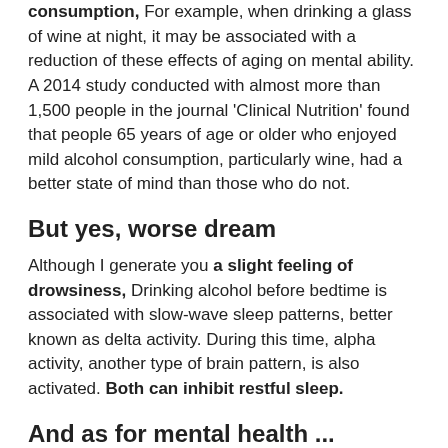consumption, For example, when drinking a glass of wine at night, it may be associated with a reduction of these effects of aging on mental ability. A 2014 study conducted with almost more than 1,500 people in the journal 'Clinical Nutrition' found that people 65 years of age or older who enjoyed mild alcohol consumption, particularly wine, had a better state of mind than those who do not.
But yes, worse dream
Although I generate you a slight feeling of drowsiness, Drinking alcohol before bedtime is associated with slow-wave sleep patterns, better known as delta activity. During this time, alpha activity, another type of brain pattern, is also activated. Both can inhibit restful sleep.
And as for mental health ...
The relationship between alcohol and mood is rather complicated. Logically, it varies according to the amount you take and personal factors. Surely you know perfectly the dopant and pleasant sensation It offers you a drink. This happens in the wake of the neurotransmitters of serotonin, dopamine and opioid peptides that